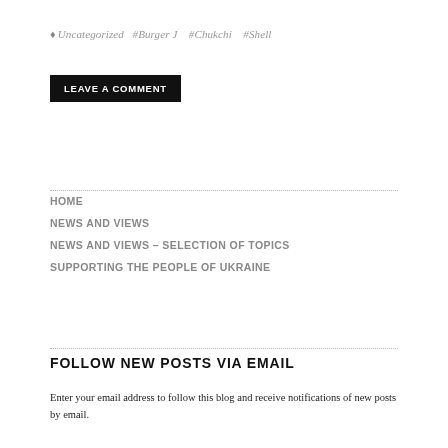♦ Uncategorized  #Burger J  #Chukchi  #Shell
LEAVE A COMMENT
HOME
NEWS AND VIEWS
NEWS AND VIEWS – SELECTION OF TOPICS
SUPPORTING THE PEOPLE OF UKRAINE
FOLLOW NEW POSTS VIA EMAIL
Enter your email address to follow this blog and receive notifications of new posts by email.